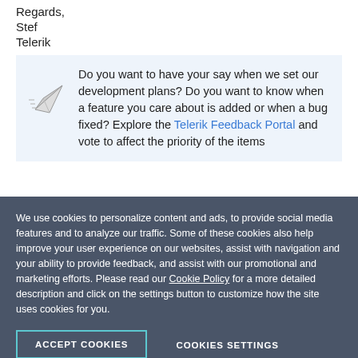Regards,
Stef
Telerik
[Figure (illustration): Paper airplane icon inside a light blue box, alongside text about Telerik Feedback Portal.]
Do you want to have your say when we set our development plans? Do you want to know when a feature you care about is added or when a bug fixed? Explore the Telerik Feedback Portal and vote to affect the priority of the items
We use cookies to personalize content and ads, to provide social media features and to analyze our traffic. Some of these cookies also help improve your user experience on our websites, assist with navigation and your ability to provide feedback, and assist with our promotional and marketing efforts. Please read our Cookie Policy for a more detailed description and click on the settings button to customize how the site uses cookies for you.
ACCEPT COOKIES
COOKIES SETTINGS